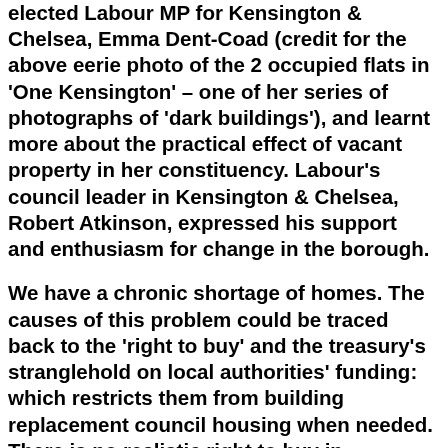elected Labour MP for Kensington & Chelsea, Emma Dent-Coad (credit for the above eerie photo of the 2 occupied flats in 'One Kensington' – one of her series of photographs of 'dark buildings'), and learnt more about the practical effect of vacant property in her constituency. Labour's council leader in Kensington & Chelsea, Robert Atkinson, expressed his support and enthusiasm for change in the borough.
We have a chronic shortage of homes. The causes of this problem could be traced back to the 'right to buy' and the treasury's stranglehold on local authorities' funding: which restricts them from building replacement council housing when needed. There is no realistic right to buy in Kensington & Chelsea, according to Emma Dent-Coad, and Robert Atkinson could not dispute...